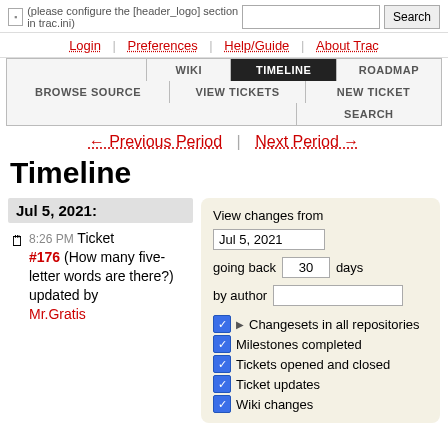(please configure the [header_logo] section in trac.ini)
Login | Preferences | Help/Guide | About Trac
WIKI | TIMELINE | ROADMAP | BROWSE SOURCE | VIEW TICKETS | NEW TICKET | SEARCH
← Previous Period | Next Period →
Timeline
Jul 5, 2021:
8:26 PM Ticket #176 (How many five-letter words are there?) updated by Mr. Gratis
View changes from Jul 5, 2021 going back 30 days by author — Changesets in all repositories, Milestones completed, Tickets opened and closed, Ticket updates, Wiki changes